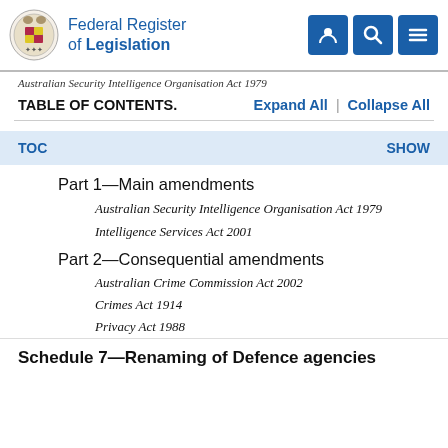Federal Register of Legislation
Australian Security Intelligence Organisation Act 1979
TABLE OF CONTENTS.
TOC   SHOW
Part 1—Main amendments
Australian Security Intelligence Organisation Act 1979
Intelligence Services Act 2001
Part 2—Consequential amendments
Australian Crime Commission Act 2002
Crimes Act 1914
Privacy Act 1988
Schedule 7—Renaming of Defence agencies